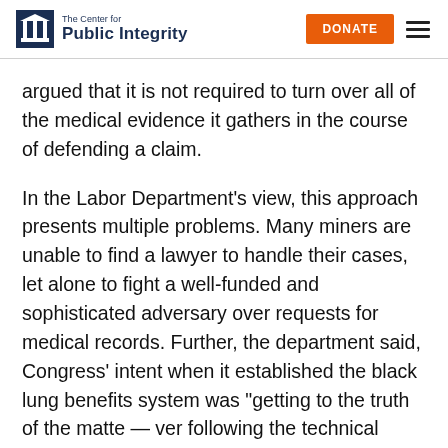The Center for Public Integrity | DONATE
argued that it is not required to turn over all of the medical evidence it gathers in the course of defending a claim.
In the Labor Department’s view, this approach presents multiple problems. Many miners are unable to find a lawyer to handle their cases, let alone to fight a well-funded and sophisticated adversary over requests for medical records. Further, the department said, Congress’ intent when it established the black lung benefits system was “getting to the truth of the matte — ver following the technical formalities associated